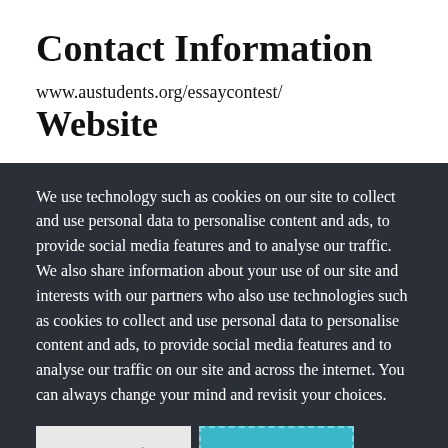Contact Information
www.austudents.org/essaycontest/
Website
We use technology such as cookies on our site to collect and use personal data to personalise content and ads, to provide social media features and to analyse our traffic. We also share information about your use of our site and interests with our partners who also use technologies such as cookies to collect and use personal data to personalise content and ads, to provide social media features and to analyse our traffic on our site and across the internet. You can always change your mind and revisit your choices.
Manage Options
I Accept